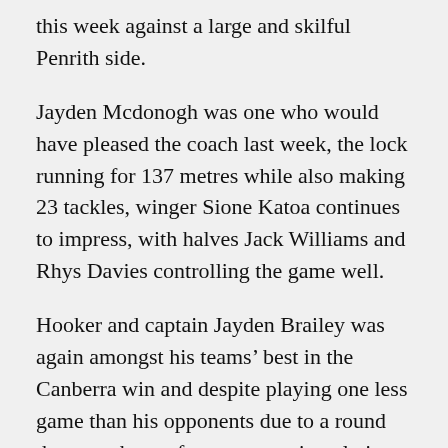this week against a large and skilful Penrith side.
Jayden Mcdonogh was one who would have pleased the coach last week, the lock running for 137 metres while also making 23 tackles, winger Sione Katoa continues to impress, with halves Jack Williams and Rhys Davies controlling the game well.
Hooker and captain Jayden Brailey was again amongst his teams’ best in the Canberra win and despite playing one less game than his opponents due to a round three wash-out, features prominently in a number of NYC